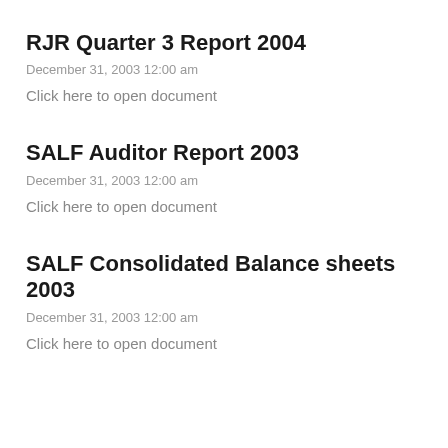RJR Quarter 3 Report 2004
December 31, 2003 12:00 am
Click here to open document
SALF Auditor Report 2003
December 31, 2003 12:00 am
Click here to open document
SALF Consolidated Balance sheets 2003
December 31, 2003 12:00 am
Click here to open document